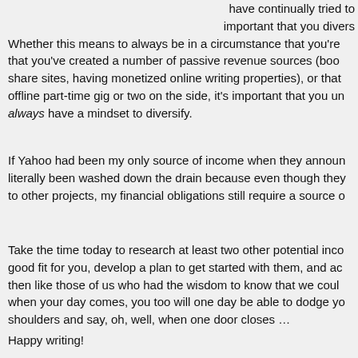have continually tried to important that you divers Whether this means to always be in a circumstance that you're that you've created a number of passive revenue sources (boo share sites, having monetized online writing properties), or that offline part-time gig or two on the side, it's important that you un always have a mindset to diversify.
If Yahoo had been my only source of income when they announ literally been washed down the drain because even though they to other projects, my financial obligations still require a source o
Take the time today to research at least two other potential inco good fit for you, develop a plan to get started with them, and ac then like those of us who had the wisdom to know that we coul when your day comes, you too will one day be able to dodge yo shoulders and say, oh, well, when one door closes …
Happy writing!